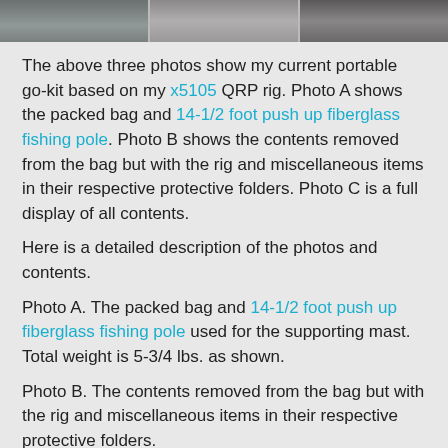[Figure (photo): Three cropped photo thumbnails of a portable go-kit bag, contents, and full display]
The above three photos show my current portable go-kit based on my x5105 QRP rig. Photo A shows the packed bag and 14-1/2 foot push up fiberglass fishing pole. Photo B shows the contents removed from the bag but with the rig and miscellaneous items in their respective protective folders. Photo C is a full display of all contents.
Here is a detailed description of the photos and contents.
Photo A. The packed bag and 14-1/2 foot push up fiberglass fishing pole used for the supporting mast. Total weight is 5-3/4 lbs. as shown.
Photo B. The contents removed from the bag but with the rig and miscellaneous items in their respective protective folders.
Item 1 is the bag itself. I found this one at a local thrift store for a couple dollars. It just the right size.
Item 2 is my QRPguys based EFHW 40-10 antenna. I attached the QRPguys transformer to a DIY wire winder